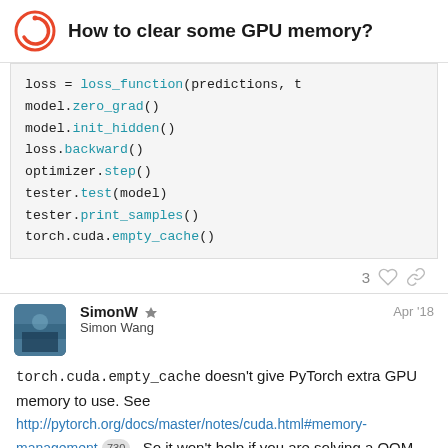How to clear some GPU memory?
[Figure (screenshot): Code block showing Python code with loss_function, model.zero_grad(), model.init_hidden(), loss.backward(), optimizer.step(), tester.test(model), tester.print_samples(), torch.cuda.empty_cache()]
3 [heart icon] [link icon]
SimonW Simon Wang Apr '18
torch.cuda.empty_cache doesn't give PyTorch extra GPU memory to use. See http://pytorch.org/docs/master/notes/cuda.html#memory-management 730 . So it won't help if you are solving a OOM with a PyTorch giving that GPU ...